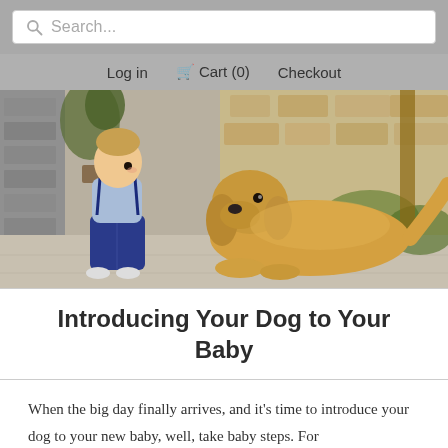Search...  Log in  Cart (0)  Checkout
[Figure (photo): A toddler in blue jeans and a light blue shirt sitting on stone pavement facing a large golden retriever dog lying down, outdoors near a stone wall with plants in the background.]
Introducing Your Dog to Your Baby
When the big day finally arrives, and it's time to introduce your dog to your new baby, well, take baby steps. For